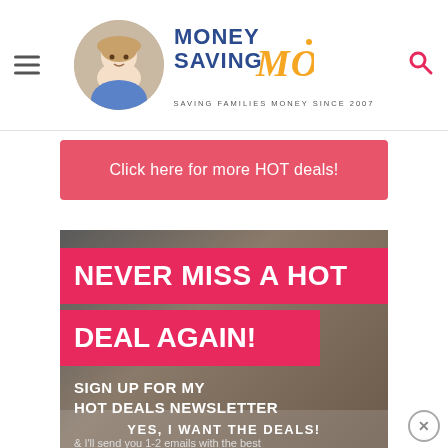[Figure (logo): Money Saving Mom logo with circular avatar photo of a woman, brand name in blue and gold italic, tagline 'SAVING FAMILIES MONEY SINCE 2007']
Click here for more HOT deals!
[Figure (infographic): Newsletter signup banner image on dark laptop/phone background. Large white text on pink bars: 'NEVER MISS A HOT DEAL AGAIN!' followed by 'SIGN UP FOR MY HOT DEALS NEWSLETTER' and body text '& I'll send you 1-2 emails with the best hand-picked deals each day – as soon as they are available!' Bottom cut-off text 'YES, I WANT THE DEALS!']